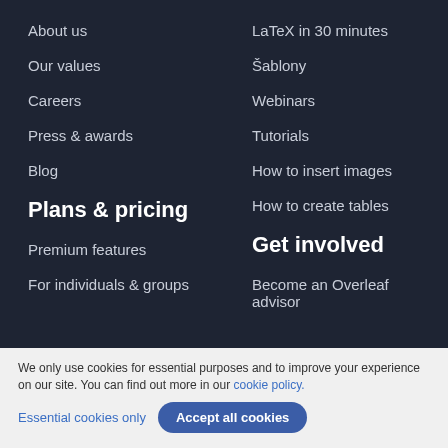About us
LaTeX in 30 minutes
Our values
Šablony
Careers
Webinars
Press & awards
Tutorials
Blog
How to insert images
How to create tables
Plans & pricing
Get involved
Premium features
Become an Overleaf advisor
For individuals & groups
We only use cookies for essential purposes and to improve your experience on our site. You can find out more in our cookie policy.
Essential cookies only
Accept all cookies